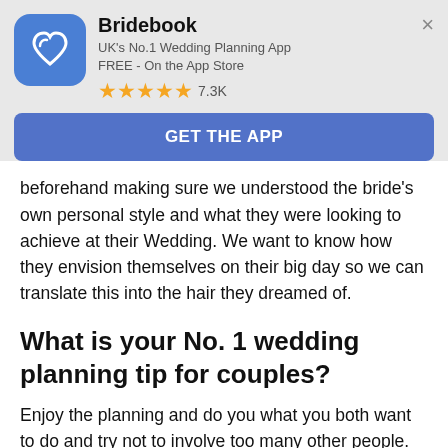[Figure (logo): Bridebook app promotional banner with app icon (blue rounded square with heart logo), app name 'Bridebook', subtitle 'UK's No.1 Wedding Planning App FREE - On the App Store', 5 gold stars and '7.3K' rating, and a blue 'GET THE APP' button. An X close button is in the top right.]
beforehand making sure we understood the bride's own personal style and what they were looking to achieve at their Wedding. We want to know how they envision themselves on their big day so we can translate this into the hair they dreamed of.
What is your No. 1 wedding planning tip for couples?
Enjoy the planning and do you what you both want to do and try not to involve too many other people. This keeps your Wedding exactly how you want it and nobody else. It makes your planning considerably more stress free!